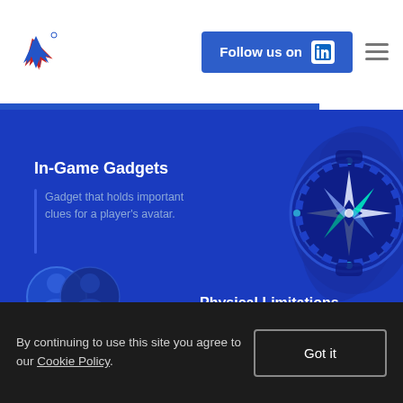[Figure (logo): Red/blue arrow logo]
[Figure (illustration): Follow us on LinkedIn button with LinkedIn icon]
[Figure (illustration): Compass gadget illustration on dark blue background - a compass rose with cyan and green needles held by a hand silhouette]
In-Game Gadgets
Gadget that holds important clues for a player’s avatar.
[Figure (illustration): Two avatar silhouettes in circles at bottom left]
Physical Limitations
When a player’s avatar is
By continuing to use this site you agree to our Cookie Policy.
Got it